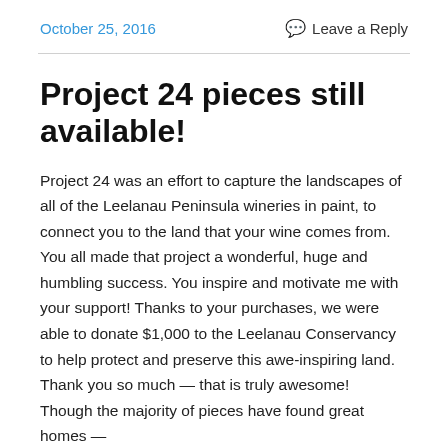October 25, 2016    Leave a Reply
Project 24 pieces still available!
Project 24 was an effort to capture the landscapes of all of the Leelanau Peninsula wineries in paint, to connect you to the land that your wine comes from. You all made that project a wonderful, huge and humbling success. You inspire and motivate me with your support! Thanks to your purchases, we were able to donate $1,000 to the Leelanau Conservancy to help protect and preserve this awe-inspiring land. Thank you so much — that is truly awesome!
Though the majority of pieces have found great homes —